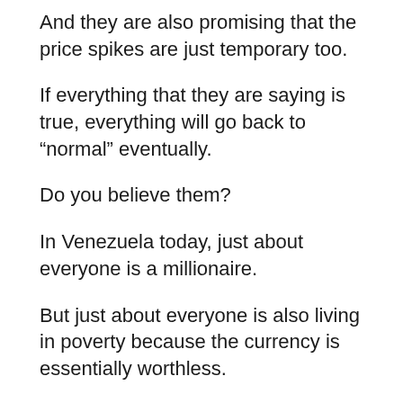And they are also promising that the price spikes are just temporary too.
If everything that they are saying is true, everything will go back to “normal” eventually.
Do you believe them?
In Venezuela today, just about everyone is a millionaire.
But just about everyone is also living in poverty because the currency is essentially worthless.
For years, pundits have been warning about “the death of the dollar”, but now our “leaders” seem determined to murder our currency as rapidly as they can.